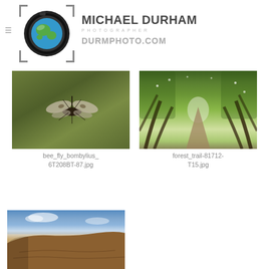[Figure (logo): Michael Durham Photographer logo with camera lens graphic, text MICHAEL DURHAM, PHOTOGRAPHER, DURMPHOTO.COM]
[Figure (photo): Bee fly (bombylius) in flight against green blurred background]
bee_fly_bombylius_
6T208BT-87.jpg
[Figure (photo): Forest trail tunnel formed by arching green trees with soft light at the end]
forest_trail-81712-
T15.jpg
[Figure (photo): Rocky cliff or mesa with blue sky and clouds in background, partial view]